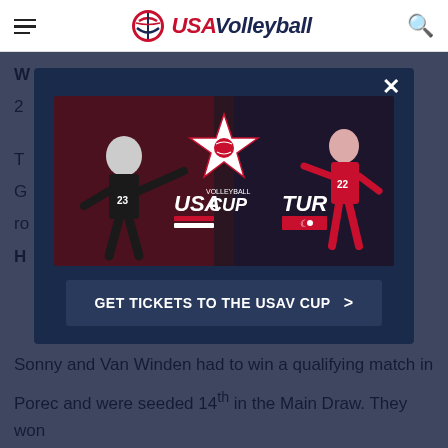USA Volleyball
W
2
T
G
ro
H
[Figure (screenshot): USA Volleyball Cup advertisement showing two volleyball players (USA #23 and TUR #22) with the USA Cup Volleyball logo in the center. Includes a 'GET TICKETS TO THE USAV CUP >' button at the bottom.]
In
Cl
Sonny and Van Winden had to win a qualifying match in Porec and were seeded 14th in the Main Draw. They won